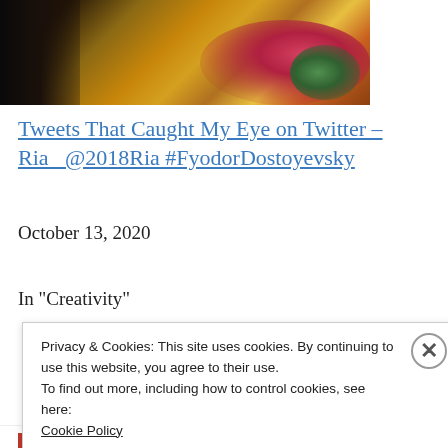[Figure (photo): Partial photograph showing what appears to be a person's hands or body with a yellow floral patterned fabric/sari, with dark areas on the left side]
Tweets That Caught My Eye on Twitter – Ria_ @2018Ria #FyodorDostoyevsky
October 13, 2020
In "Creativity"
Privacy & Cookies: This site uses cookies. By continuing to use this website, you agree to their use.
To find out more, including how to control cookies, see here:
Cookie Policy
Close and accept